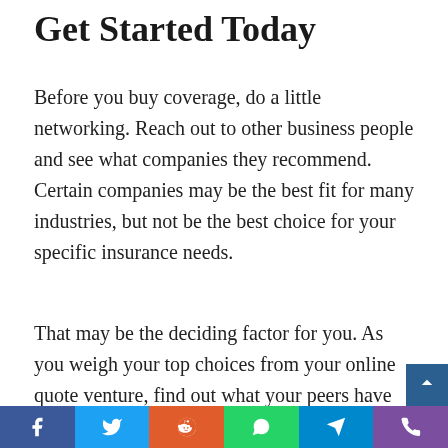Get Started Today
Before you buy coverage, do a little networking. Reach out to other business people and see what companies they recommend. Certain companies may be the best fit for many industries, but not be the best choice for your specific insurance needs.
That may be the deciding factor for you. As you weigh your top choices from your online quote venture, find out what your peers have chosen. As a last deciding factor,
Social share bar: Facebook, Twitter, Reddit, WhatsApp, Telegram, Phone